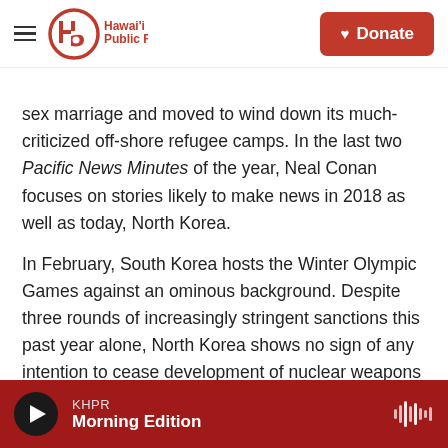Hawai'i Public Radio — Donate
sex marriage and moved to wind down its much-criticized off-shore refugee camps. In the last two Pacific News Minutes of the year, Neal Conan focuses on stories likely to make news in 2018 as well as today, North Korea.
In February, South Korea hosts the Winter Olympic Games against an ominous background. Despite three rounds of increasingly stringent sanctions this past year alone, North Korea shows no sign of any intention to cease development of nuclear weapons and ballistic missiles.
KHPR — Morning Edition